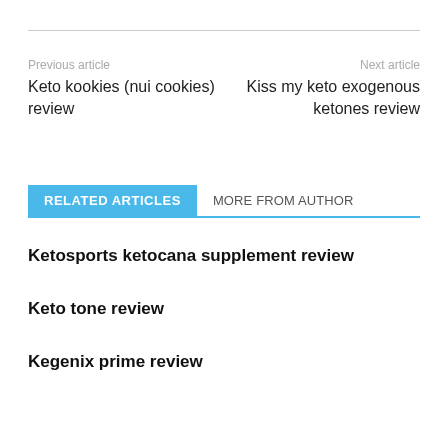Previous article
Next article
Keto kookies (nui cookies) review
Kiss my keto exogenous ketones review
RELATED ARTICLES
MORE FROM AUTHOR
Ketosports ketocana supplement review
Keto tone review
Kegenix prime review